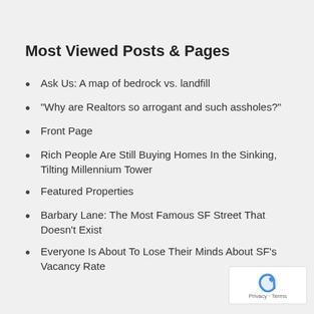Most Viewed Posts & Pages
Ask Us: A map of bedrock vs. landfill
"Why are Realtors so arrogant and such assholes?"
Front Page
Rich People Are Still Buying Homes In the Sinking, Tilting Millennium Tower
Featured Properties
Barbary Lane: The Most Famous SF Street That Doesn't Exist
Everyone Is About To Lose Their Minds About SF's Vacancy Rate